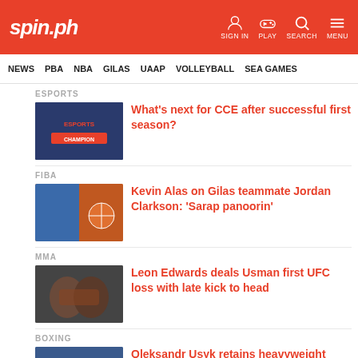spin.ph — SIGN IN | PLAY | SEARCH | MENU
NEWS | PBA | NBA | GILAS | UAAP | VOLLEYBALL | SEA GAMES
ESPORTS
What's next for CCE after successful first season?
FIBA
Kevin Alas on Gilas teammate Jordan Clarkson: 'Sarap panoorin'
MMA
Leon Edwards deals Usman first UFC loss with late kick to head
BOXING
Oleksandr Usyk retains heavyweight belts with decision over Anthony Joshua